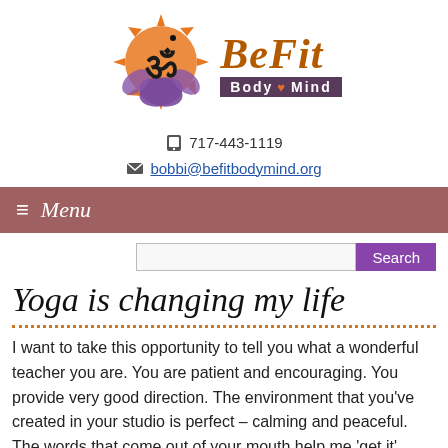[Figure (logo): BeFit Body Mind logo with Om symbol on lotus/flame design]
717-443-1119
bobbi@befitbodymind.org
≡ Menu
Yoga is changing my life
I want to take this opportunity to tell you what a wonderful teacher you are. You are patient and encouraging. You provide very good direction. The environment that you've created in your studio is perfect – calming and peaceful. The words that come out of your mouth help me 'get it' relative to others. You provide much support and help to the whole